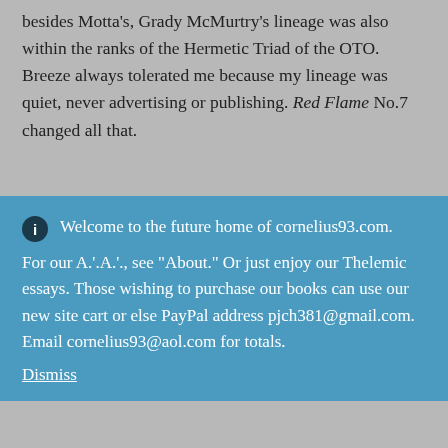an 'enemy from within' when I openly acknowledged that besides Motta's, Grady McMurtry's lineage was also within the ranks of the Hermetic Triad of the OTO. Breeze always tolerated me because my lineage was quiet, never advertising or publishing. Red Flame No.7 changed all that.
Welcome to the future home of cornelius93.com. For our A.'.A.'., see "About." Or just enjoy our Thelemic essays. Those wishing to purchase our books can use our new site cart or else PayPal address pjch381@gmail.com. Email cornelius93@aol.com for totals.
Dismiss